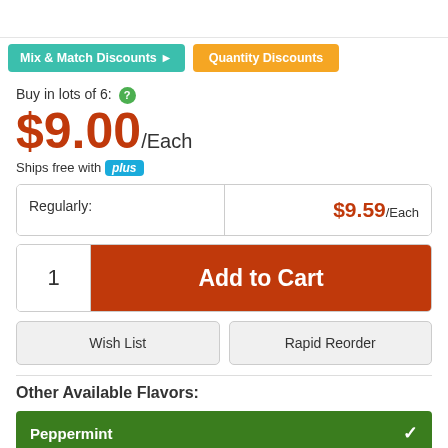[Figure (screenshot): Top white bar area, partial product image area cropped]
Mix & Match Discounts ▶
Quantity Discounts
Buy in lots of 6:
$9.00/Each
Ships free with plus
| Regularly: | $9.59/Each |
| --- | --- |
1  Add to Cart
Wish List
Rapid Reorder
Other Available Flavors:
Peppermint ✓
Triple Berry
Lemon